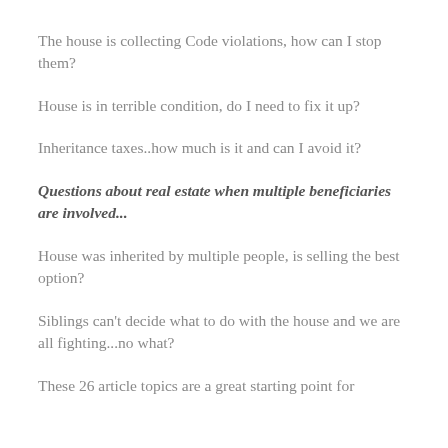The house is collecting Code violations, how can I stop them?
House is in terrible condition, do I need to fix it up?
Inheritance taxes..how much is it and can I avoid it?
Questions about real estate when multiple beneficiaries are involved...
House was inherited by multiple people, is selling the best option?
Siblings can't decide what to do with the house and we are all fighting...no what?
These 26 article topics are a great starting point for